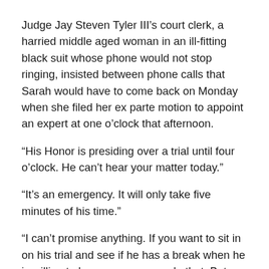Judge Jay Steven Tyler III's court clerk, a harried middle aged woman in an ill-fitting black suit whose phone would not stop ringing, insisted between phone calls that Sarah would have to come back on Monday when she filed her ex parte motion to appoint an expert at one o'clock that afternoon.
“His Honor is presiding over a trial until four o’clock. He can’t hear your matter today.”
“It’s an emergency. It will only take five minutes of his time.”
“I can’t promise anything. If you want to sit in on his trial and see if he has a break when he is willing to hear you, you can do that. But, again, no guarantees.”
Sarah hated the idea of waiting three hours with no